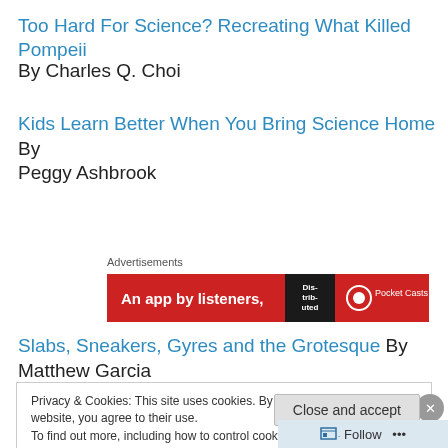Too Hard For Science? Recreating What Killed Pompeii
By Charles Q. Choi
Kids Learn Better When You Bring Science Home By Peggy Ashbrook
Advertisements
[Figure (screenshot): Red advertisement banner for Pocket Casts app reading 'An app by listeners,' with a dark book graphic and Pocket Casts logo]
Slabs, Sneakers, Gyres and the Grotesque By Matthew Garcia
Privacy & Cookies: This site uses cookies. By continuing to use this website, you agree to their use.
To find out more, including how to control cookies, see here: Cookie Policy
Close and accept